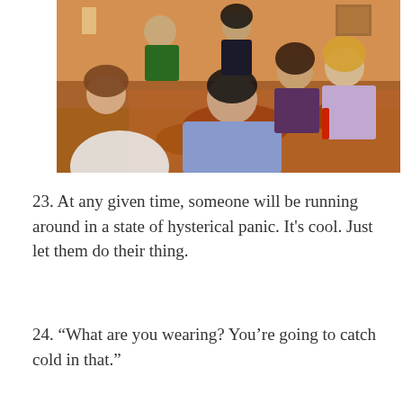[Figure (photo): A group of people seated around a large dining table filled with food, sharing a meal together. The scene shows multiple people leaning in, with food dishes spread across the table. Warm indoor lighting with orange tones.]
23. At any given time, someone will be running around in a state of hysterical panic. It's cool. Just let them do their thing.
24. “What are you wearing? You’re going to catch cold in that.”